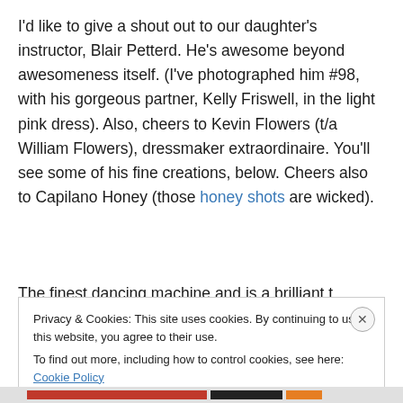I'd like to give a shout out to our daughter's instructor, Blair Petterd. He's awesome beyond awesomeness itself. (I've photographed him #98, with his gorgeous partner, Kelly Friswell, in the light pink dress). Also, cheers to Kevin Flowers (t/a William Flowers), dressmaker extraordinaire. You'll see some of his fine creations, below. Cheers also to Capilano Honey (those honey shots are wicked).
The finest dancing machine...
Privacy & Cookies: This site uses cookies. By continuing to use this website, you agree to their use.
To find out more, including how to control cookies, see here: Cookie Policy